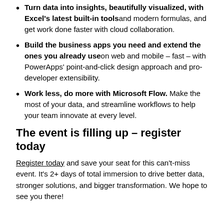Turn data into insights, beautifully visualized, with Excel's latest built-in tools and modern formulas, and get work done faster with cloud collaboration.
Build the business apps you need and extend the ones you already use on web and mobile – fast – with PowerApps' point-and-click design approach and pro-developer extensibility.
Work less, do more with Microsoft Flow. Make the most of your data, and streamline workflows to help your team innovate at every level.
The event is filling up – register today
Register today and save your seat for this can't-miss event. It's 2+ days of total immersion to drive better data, stronger solutions, and bigger transformation. We hope to see you there!